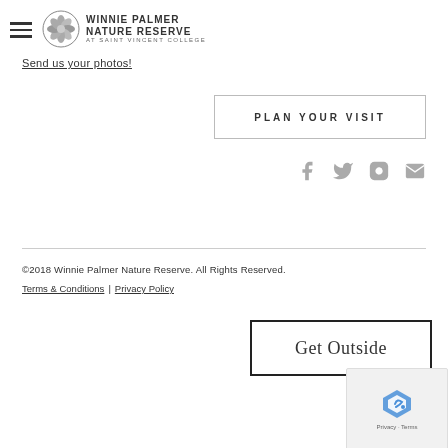Winnie Palmer Nature Reserve at Saint Vincent College
Send us your photos!
PLAN YOUR VISIT
[Figure (infographic): Social media icons: Facebook, Twitter, Instagram, Email]
©2018 Winnie Palmer Nature Reserve. All Rights Reserved. Terms & Conditions | Privacy Policy
Get Outside